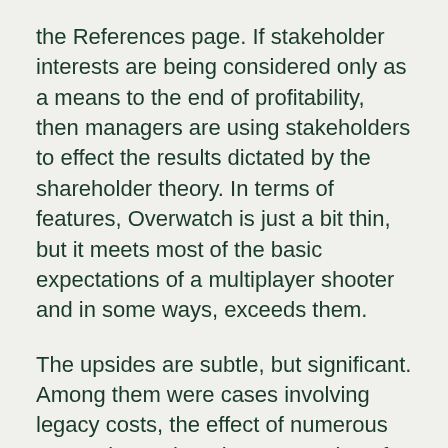the References page. If stakeholder interests are being considered only as a means to the end of profitability, then managers are using stakeholders to effect the results dictated by the shareholder theory. In terms of features, Overwatch is just a bit thin, but it meets most of the basic expectations of a multiplayer shooter and in some ways, exceeds them.
The upsides are subtle, but significant. Among them were cases involving legacy costs, the effect of numerous competitors, changing economies of scale, and shifting social conditions.
In most cases, you are better off paraphrasing or summarizing, which you must do carefully to avoid plagiarism see CR, Ch.
However, the stakeholder theory would infer a normative